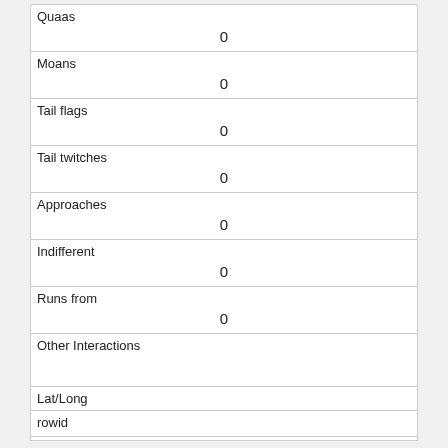| Quaas | 0 |
| Moans | 0 |
| Tail flags | 0 |
| Tail twitches | 0 |
| Approaches | 0 |
| Indifferent | 0 |
| Runs from | 0 |
| Other Interactions |  |
| Lat/Long | POINT (-73.9648626810032 40.7804506112843) |
| rowid |  |